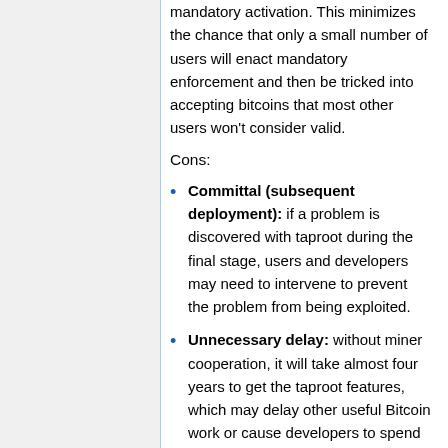mandatory activation. This minimizes the chance that only a small number of users will enact mandatory enforcement and then be tricked into accepting bitcoins that most other users won't consider valid.
Cons:
Committal (subsequent deployment): if a problem is discovered with taproot during the final stage, users and developers may need to intervene to prevent the problem from being exploited.
Unnecessary delay: without miner cooperation, it will take almost four years to get the taproot features, which may delay other useful Bitcoin work or cause developers to spend time implementing unnecessary intermediate solutions